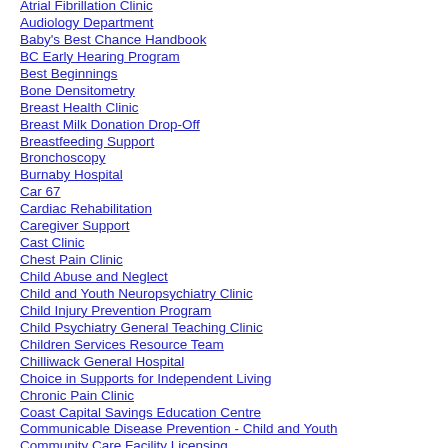Atrial Fibrillation Clinic
Audiology Department
Baby's Best Chance Handbook
BC Early Hearing Program
Best Beginnings
Bone Densitometry
Breast Health Clinic
Breast Milk Donation Drop-Off
Breastfeeding Support
Bronchoscopy
Burnaby Hospital
Car 67
Cardiac Rehabilitation
Caregiver Support
Cast Clinic
Chest Pain Clinic
Child Abuse and Neglect
Child and Youth Neuropsychiatry Clinic
Child Injury Prevention Program
Child Psychiatry General Teaching Clinic
Children Services Resource Team
Chilliwack General Hospital
Choice in Supports for Independent Living
Chronic Pain Clinic
Coast Capital Savings Education Centre
Communicable Disease Prevention - Child and Youth
Community Care Facility Licensing
Community Dialysis
Community Hospice Care
Community Pain Management Program
Community Residential Short-Stay and Treatment
Community Respiratory Services